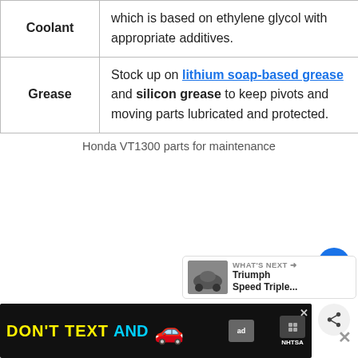|  |  |
| --- | --- |
| Coolant | which is based on ethylene glycol with appropriate additives. |
| Grease | Stock up on lithium soap-based grease and silicon grease to keep pivots and moving parts lubricated and protected. |
Honda VT1300 parts for maintenance
[Figure (screenshot): UI buttons: heart/like button (blue circle), count label '2', share button. What's Next panel showing motorcycle image and 'Triumph Speed Triple...' text. Advertisement banner: DON'T TEXT AND with car emoji, ad and NHTSA logos.]